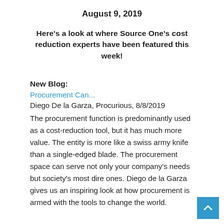August 9, 2019
Here's a look at where Source One's cost reduction experts have been featured this week!
New Blog:
Procurement Can...
Diego De la Garza, Procurious, 8/8/2019
The procurement function is predominantly used as a cost-reduction tool, but it has much more value. The entity is more like a swiss army knife than a single-edged blade. The procurement space can serve not only your company's needs but society's most dire ones. Diego de la Garza gives us an inspiring look at how procurement is armed with the tools to change the world.